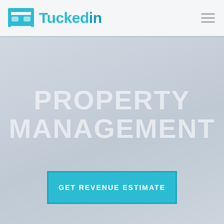[Figure (logo): Tuckedin logo: teal bed icon with horizontal bars on left and right, and 'Tuckedin' text in teal with bold 'in']
PROPERTY MANAGEMENT
GET REVENUE ESTIMATE